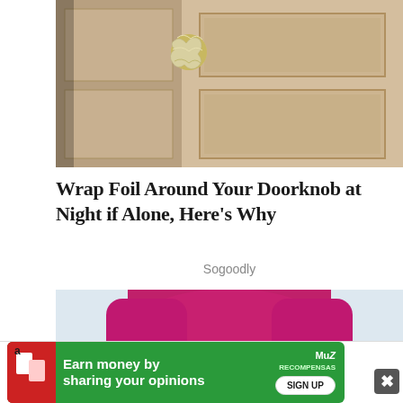[Figure (photo): Close-up photo of a wooden door with a doorknob wrapped in crumpled aluminum foil]
Wrap Foil Around Your Doorknob at Night if Alone, Here's Why
Sogoodly
[Figure (photo): Photo of a person wearing a magenta/pink long-sleeve top and blue jeans]
Earn money by sharing your opinions SIGN UP